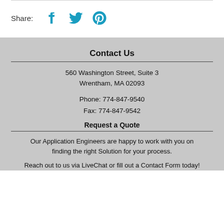Share:
[Figure (illustration): Social media sharing icons: Facebook, Twitter, Pinterest in teal/blue color]
Contact Us
560 Washington Street, Suite 3
Wrentham, MA 02093
Phone: 774-847-9540
Fax: 774-847-9542
Request a Quote
Our Application Engineers are happy to work with you on finding the right Solution for your process.
Reach out to us via LiveChat or fill out a Contact Form today!